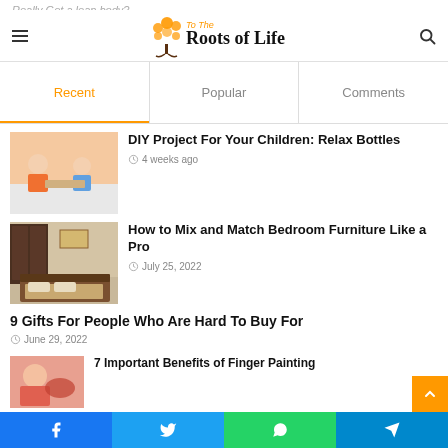Really Get a lean body?
[Figure (logo): To The Roots of Life logo with tree illustration]
Recent | Popular | Comments
[Figure (photo): Two children doing a DIY craft project]
DIY Project For Your Children: Relax Bottles
4 weeks ago
[Figure (photo): Bedroom with dark wooden furniture]
How to Mix and Match Bedroom Furniture Like a Pro
July 25, 2022
9 Gifts For People Who Are Hard To Buy For
June 29, 2022
[Figure (photo): Partial image - finger painting article]
7 Important Benefits of Finger Painting